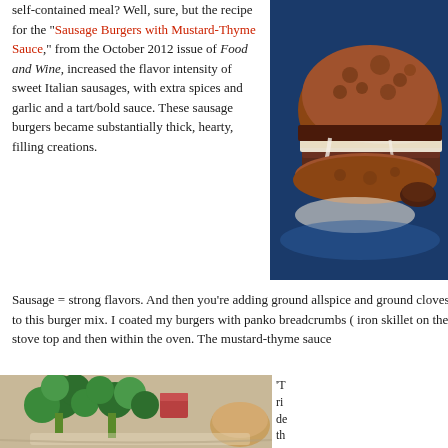self-contained meal? Well, sure, but the recipe for the "Sausage Burgers with Mustard-Thyme Sauce," from the October 2012 issue of Food and Wine, increased the flavor intensity of sweet Italian sausages, with extra spices and garlic and a tart/bold sauce. These sausage burgers became substantially thick, hearty, filling creations.
[Figure (photo): Close-up photo of a sausage burger with mustard-thyme sauce on a blue plate, showing thick breadcrumb coating and layers inside]
Sausage = strong flavors. And then you're adding ground allspice and ground cloves to this burger mix. I coated my burgers with panko breadcrumbs ( iron skillet on the stove top and then within the oven. The mustard-thyme sauce
[Figure (photo): Photo of broccoli, ham, and bread on a plate]
'T rip de th Po of